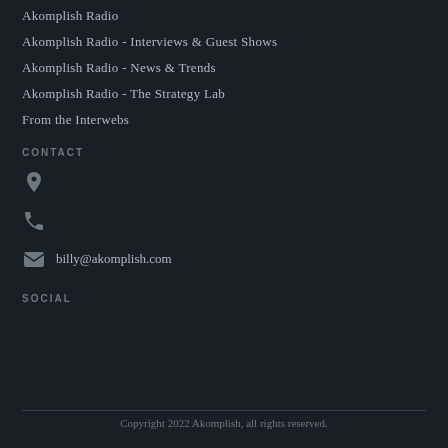Akomplish Radio
Akomplish Radio - Interviews & Guest Shows
Akomplish Radio - News & Trends
Akomplish Radio - The Strategy Lab
From the Interwebs
CONTACT
billy@akomplish.com
SOCIAL
Copyright 2022 Akomplish, all rights reserved.